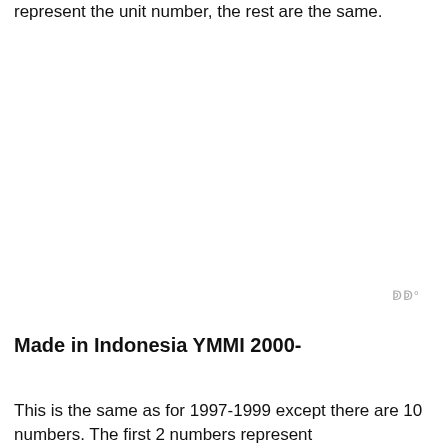represent the unit number, the rest are the same.
Made in Indonesia YMMI 2000-
This is the same as for 1997-1999 except there are 10 numbers. The first 2 numbers represent